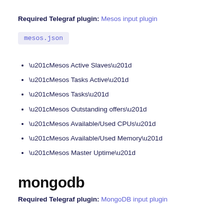Required Telegraf plugin: Mesos input plugin
mesos.json
“Mesos Active Slaves”
“Mesos Tasks Active”
“Mesos Tasks”
“Mesos Outstanding offers”
“Mesos Available/Used CPUs”
“Mesos Available/Used Memory”
“Mesos Master Uptime”
mongodb
Required Telegraf plugin: MongoDB input plugin